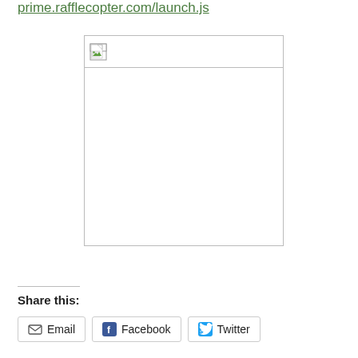prime.rafflecopter.com/launch.js
[Figure (other): Broken/missing embedded image placeholder with a small broken image icon in the top-left corner of a bordered box]
Share this:
Email  Facebook  Twitter